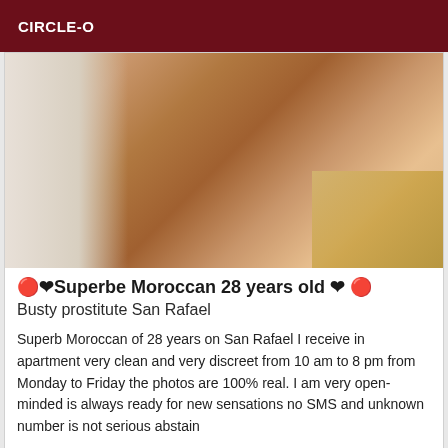CIRCLE-O
[Figure (photo): Close-up photo of a person's legs/skin in a bathroom or room setting, warm brown skin tones with white wall and light wood/tile floor visible]
🔴❤Superbe Moroccan 28 years old ❤ 🔴
Busty prostitute San Rafael
Superb Moroccan of 28 years on San Rafael I receive in apartment very clean and very discreet from 10 am to 8 pm from Monday to Friday the photos are 100% real. I am very open-minded is always ready for new sensations no SMS and unknown number is not serious abstain